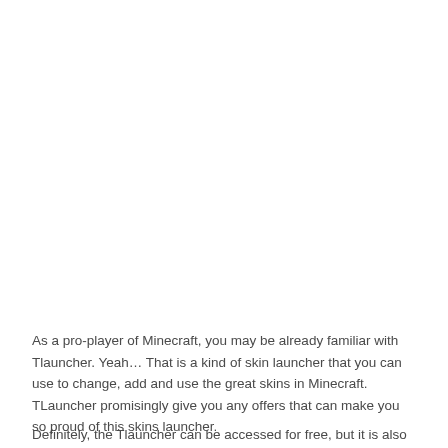As a pro-player of Minecraft, you may be already familiar with Tlauncher. Yeah… That is a kind of skin launcher that you can use to change, add and use the great skins in Minecraft. TLauncher promisingly give you any offers that can make you so proud of this skins launcher.
Definitely, the Tlauncher can be accessed for free, but it is also